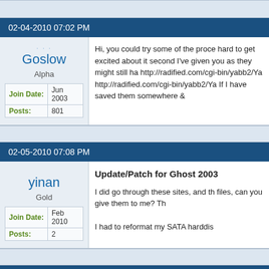02-04-2010 07:02 PM
Goslow
Alpha
Join Date: Jun 2003
Posts: 801
Hi, you could try some of the proce hard to get excited about it second I've given you as they might still ha http://radified.com/cgi-bin/yabb2/Ya http://radified.com/cgi-bin/yabb2/Ya If I have saved them somewhere &
02-05-2010 07:08 PM
yinan
Gold
Join Date: Feb 2010
Posts: 2
Update/Patch for Ghost 2003
I did go through these sites, and th files, can you give them to me? Th
I had to reformat my SATA hardisl
02-06-2010 04:51 AM